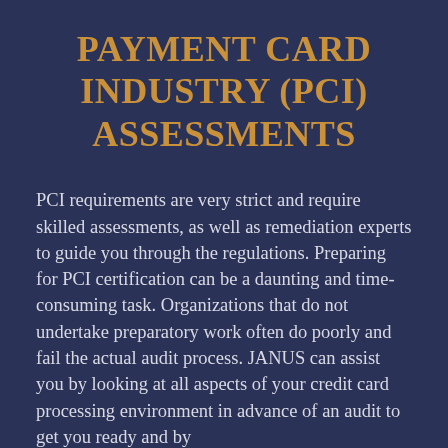PAYMENT CARD INDUSTRY (PCI) ASSESSMENTS
PCI requirements are very strict and require skilled assessments, as well as remediation experts to guide you through the regulations. Preparing for PCI certification can be a daunting and time-consuming task. Organizations that do not undertake preparatory work often do poorly and fail the actual audit process. JANUS can assist you by looking at all aspects of your credit card processing environment in advance of an audit to get you ready and by